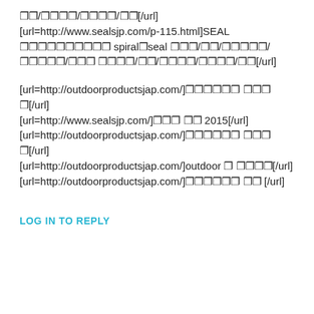㊙/㊗㊗/㊗㊗㊗/㊙㊙[/url]
[url=http://www.sealsjp.com/p-115.html]SEAL ㊗㊗㊗㊗㊗㊗㊗㊗ spiral​seal ㊗㊗㊗/㊗㊗/㊗㊗㊗㊗/㊗㊗㊗㊗/㊗㊗ ㊗㊗㊗㊗/㊗㊗/㊗㊗㊗/㊗㊗㊗/㊗㊗[/url]
[url=http://outdoorproductsjap.com/]㊗㊗㊗㊗㊗ ㊗㊗㊗ ㊗[/url]
[url=http://www.sealsjp.com/]㊗㊗㊗ ㊗㊗ 2015[/url]
[url=http://outdoorproductsjap.com/]㊗㊗㊗㊗㊗ ㊗㊗㊗ ㊗[/url]
[url=http://outdoorproductsjap.com/]outdoor ㊗ ㊗㊗㊗㊗[/url]
[url=http://outdoorproductsjap.com/]㊗㊗㊗㊗㊗ ㊗㊗ [/url]
LOG IN TO REPLY